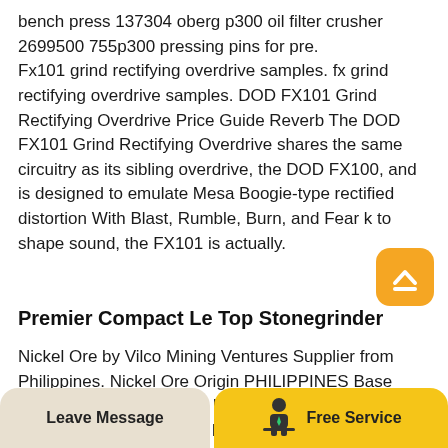bench press 137304 oberg p300 oil filter crusher 2699500 755p300 pressing pins for pre. Fx101 grind rectifying overdrive samples. fx grind rectifying overdrive samples. DOD FX101 Grind Rectifying Overdrive Price Guide Reverb The DOD FX101 Grind Rectifying Overdrive shares the same circuitry as its sibling overdrive, the DOD FX100, and is designed to emulate Mesa Boogie-type rectified distortion With Blast, Rumble, Burn, and Fear k to shape sound, the FX101 is actually.
[Figure (other): Orange rounded square button with a white upward-pointing caret/chevron icon (scroll to top button)]
Premier Compact Le Top Stonegrinder
Nickel Ore by Vilco Mining Ventures Supplier from Philippines. Nickel Ore Origin PHILIPPINES Base Price for Ni 1.60 Rej 1.55 USD 38 per WMT FOB Load Port Basis Base Price for Ni 1.50 Rej 1.45 USD 32 per
Leave Message   Free Service